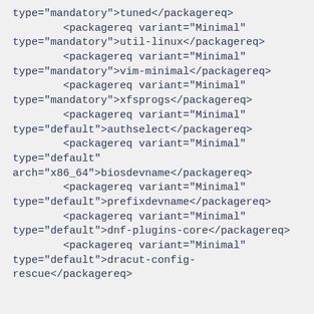type="mandatory">tuned</packagereq>
        <packagereq variant="Minimal"
type="mandatory">util-linux</packagereq>
        <packagereq variant="Minimal"
type="mandatory">vim-minimal</packagereq>
        <packagereq variant="Minimal"
type="mandatory">xfsprogs</packagereq>
        <packagereq variant="Minimal"
type="default">authselect</packagereq>
        <packagereq variant="Minimal"
type="default"
arch="x86_64">biosdevname</packagereq>
        <packagereq variant="Minimal"
type="default">prefixdevname</packagereq>
        <packagereq variant="Minimal"
type="default">dnf-plugins-core</packagereq>
        <packagereq variant="Minimal"
type="default">dracut-config-
rescue</packagereq>